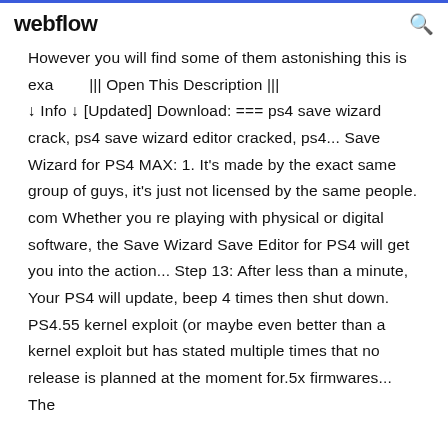webflow
However you will find some of them astonishing this is exa        ||| Open This Description ||| ↓ Info ↓ [Updated] Download: === ps4 save wizard crack, ps4 save wizard editor cracked, ps4... Save Wizard for PS4 MAX: 1. It's made by the exact same group of guys, it's just not licensed by the same people. com Whether you re playing with physical or digital software, the Save Wizard Save Editor for PS4 will get you into the action... Step 13: After less than a minute, Your PS4 will update, beep 4 times then shut down. PS4.55 kernel exploit (or maybe even better than a kernel exploit but has stated multiple times that no release is planned at the moment for.5x firmwares... The